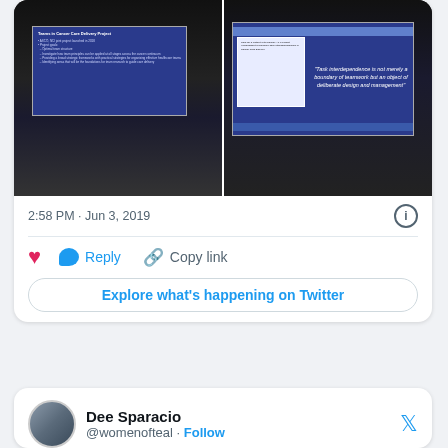[Figure (screenshot): Two side-by-side photos of a conference presentation showing slides about 'Teams in Cancer Care Delivery Project' and a quote about task interdependence]
2:58 PM · Jun 3, 2019
Reply  Copy link
Explore what's happening on Twitter
Dee Sparacio
@womenofteal · Follow